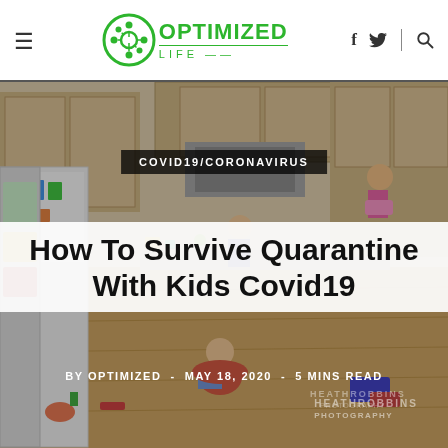Optimized Life — navigation header with hamburger menu, logo, social icons (f, twitter), search icon
[Figure (photo): Chaotic kitchen scene with multiple children — one rummaging in the fridge, one standing on counter reaching into cabinet wearing pink tutu, one sitting on floor, messy living area with toys scattered on hardwood floor]
COVID19/CORONAVIRUS
How To Survive Quarantine With Kids Covid19
BY OPTIMIZED  -  MAY 18, 2020  -  5 MINS READ
HEATHROBBINS